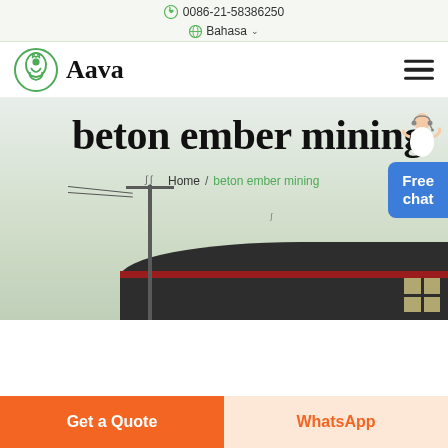0086-21-58386250
Bahasa
[Figure (logo): Aava brand logo with green circular leaf/person icon and bold serif text 'Aava']
beton ember mining
Home / beton ember mining
[Figure (screenshot): Website screenshot showing a building with electric pole in background, birds in sky]
Free chat
Get a Quote
WhatsApp